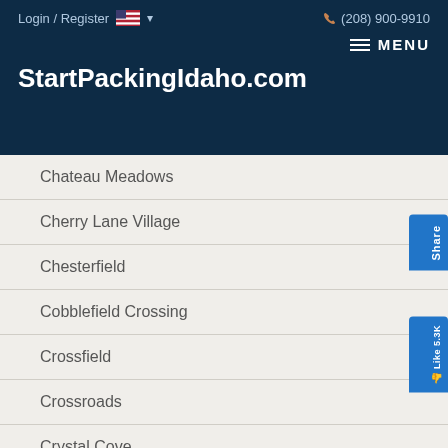Login / Register  🇺🇸 ▾    (208) 900-9910   ≡ MENU   StartPackingIdaho.com
Chateau Meadows
Cherry Lane Village
Chesterfield
Cobblefield Crossing
Crossfield
Crossroads
Crystal Cove
...nbury Fair